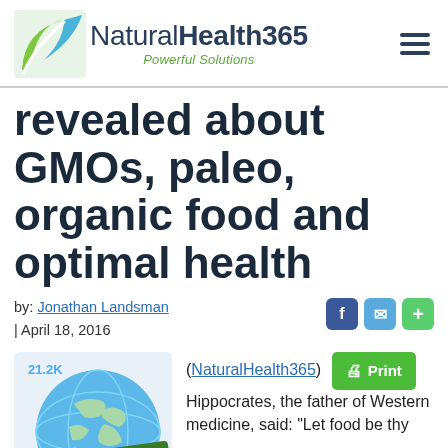[Figure (logo): NaturalHealth365 logo with green leaf icon and 'Powerful Solutions' tagline]
revealed about GMOs, paleo, organic food and optimal health
by: Jonathan Landsman | April 18, 2016
[Figure (illustration): Globe with NaturalHealth365 banner and 21.2K share count]
(NaturalHealth365) Hippocrates, the father of Western medicine, said: "Let food be thy